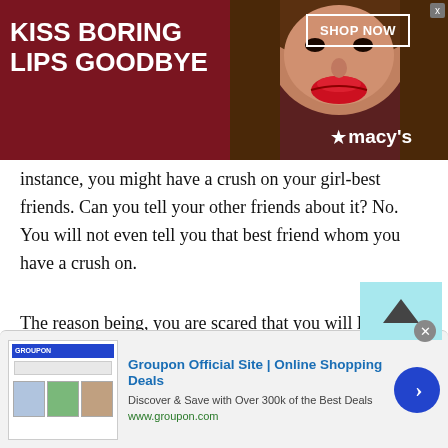[Figure (screenshot): Macy's advertisement banner: dark red background with text 'KISS BORING LIPS GOODBYE', a photo of a woman's face with red lips, 'SHOP NOW' button, and Macy's star logo]
instance, you might have a crush on your girl-best friends. Can you tell your other friends about it? No. You will not even tell you that best friend whom you have a crush on.
The reason being, you are scared that you will lose your friendship if you do so. It also itches you to see her every day and not express your feelings to her. In this case, when you cannot talk to any of your close ones, you will then need someone who will listen to you without judging you. On the platform of
[Figure (screenshot): Groupon advertisement: 'Groupon Official Site | Online Shopping Deals - Discover & Save with Over 300k of the Best Deals - www.groupon.com' with thumbnail images and a blue next arrow button]